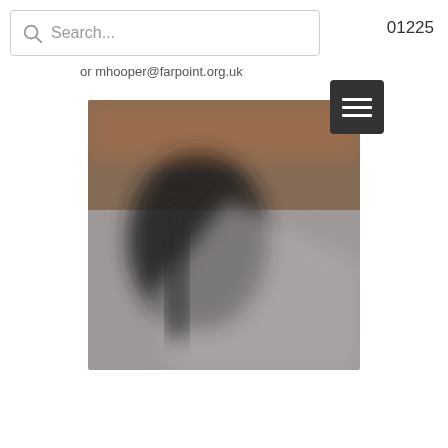Search...
01225
or mhooper@farpoint.org.uk
[Figure (photo): Blurred close-up photograph of a dark object (possibly a phone or device) on a grey surface, with warm orange/brown tones in the upper portion]
[Figure (other): Hamburger menu button (three horizontal white lines on dark grey/black square background)]